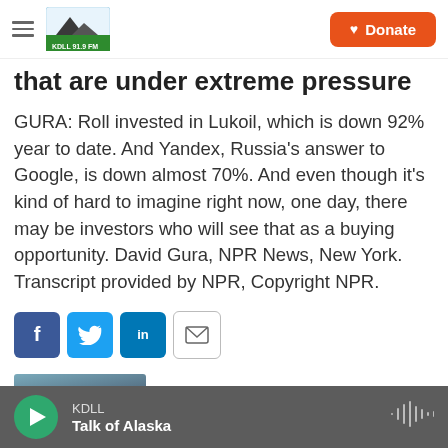KDLL — Donate
that are under extreme pressure
GURA: Roll invested in Lukoil, which is down 92% year to date. And Yandex, Russia's answer to Google, is down almost 70%. And even though it's kind of hard to imagine right now, one day, there may be investors who will see that as a buying opportunity. David Gura, NPR News, New York. Transcript provided by NPR, Copyright NPR.
[Figure (infographic): Social share buttons: Facebook, Twitter, LinkedIn, Email]
[Figure (photo): Thumbnail image partially visible at bottom left]
KDLL — Talk of Alaska (audio player bar)